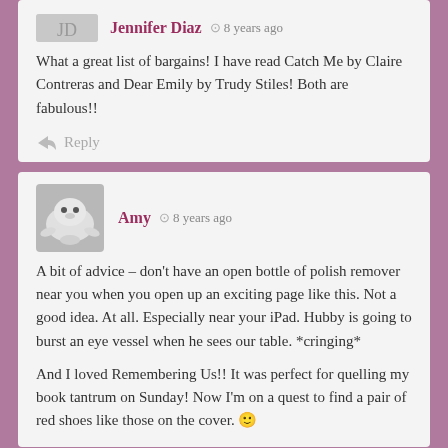Jennifer Diaz  8 years ago
What a great list of bargains! I have read Catch Me by Claire Contreras and Dear Emily by Trudy Stiles! Both are fabulous!!
Reply
[Figure (photo): Avatar photo of a white stuffed animal (seal or similar) on a gray background]
Amy  8 years ago
A bit of advice – don't have an open bottle of polish remover near you when you open up an exciting page like this. Not a good idea. At all. Especially near your iPad. Hubby is going to burst an eye vessel when he sees our table. *cringing*

And I loved Remembering Us!! It was perfect for quelling my book tantrum on Sunday! Now I'm on a quest to find a pair of red shoes like those on the cover. 🙂